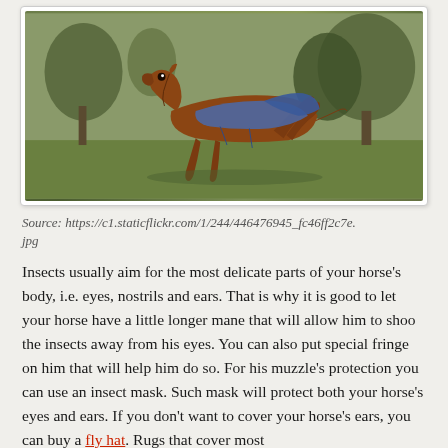[Figure (photo): A chestnut horse wearing a blue/grey blanket/rug, mid-buck or kick in a green field with bare trees in the background.]
Source: https://c1.staticflickr.com/1/244/446476945_fc46ff2c7e.jpg
Insects usually aim for the most delicate parts of your horse's body, i.e. eyes, nostrils and ears. That is why it is good to let your horse have a little longer mane that will allow him to shoo the insects away from his eyes. You can also put special fringe on him that will help him do so. For his muzzle's protection you can use an insect mask. Such mask will protect both your horse's eyes and ears. If you don't want to cover your horse's ears, you can buy a fly hat. Rugs that cover most